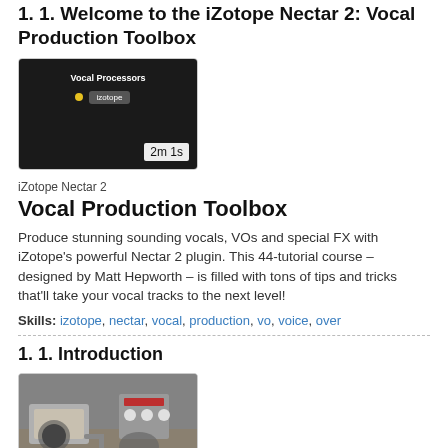1. 1. Welcome to the iZotope Nectar 2: Vocal Production Toolbox
[Figure (screenshot): Video thumbnail showing dark screen with 'Vocal Processors' text and a yellow dot label, duration 2m 1s]
iZotope Nectar 2
Vocal Production Toolbox
Produce stunning sounding vocals, VOs and special FX with iZotope's powerful Nectar 2 plugin. This 44-tutorial course – designed by Matt Hepworth – is filled with tons of tips and tricks that'll take your vocal tracks to the next level!
Skills: izotope, nectar, vocal, production, vo, voice, over
1. 1. Introduction
[Figure (screenshot): Video thumbnail showing a kitchen scene with pots and stove, duration 1m 28s]
iZotope RX 3